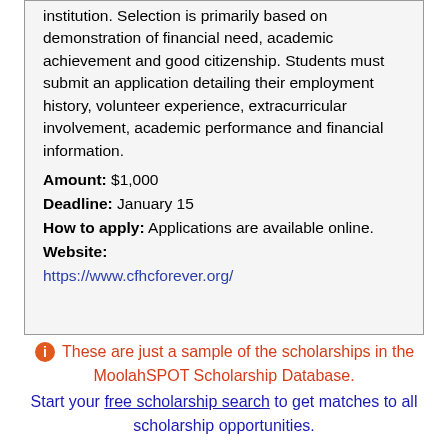institution. Selection is primarily based on demonstration of financial need, academic achievement and good citizenship. Students must submit an application detailing their employment history, volunteer experience, extracurricular involvement, academic performance and financial information. Amount: $1,000 Deadline: January 15 How to apply: Applications are available online. Website: https://www.cfhcforever.org/
ℹ These are just a sample of the scholarships in the MoolahSPOT Scholarship Database. Start your free scholarship search to get matches to all scholarship opportunities.